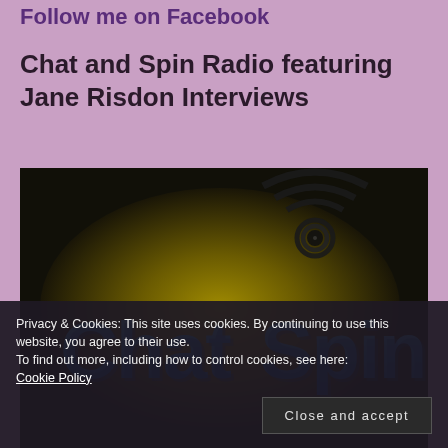Follow me on Facebook
Chat and Spin Radio featuring Jane Risdon Interviews
[Figure (logo): Chat Spin Radio logo: dark background with golden/olive radial glow, blue 3D text reading 'Chat Spin' with black radio signal wave icon above]
Privacy & Cookies: This site uses cookies. By continuing to use this website, you agree to their use.
To find out more, including how to control cookies, see here:
Cookie Policy
Close and accept